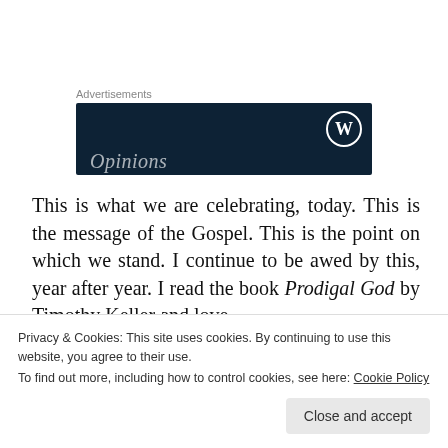Advertisements
[Figure (screenshot): Dark navy blue advertisement banner with a WordPress logo (circle with W) in the top right and partial italic text 'Opinions' at the bottom left in white.]
This is what we are celebrating, today. This is the message of the Gospel. This is the point on which we stand. I continue to be awed by this, year after year. I read the book Prodigal God by Timothy Keller and love
Privacy & Cookies: This site uses cookies. By continuing to use this website, you agree to their use.
To find out more, including how to control cookies, see here: Cookie Policy
Close and accept
share the Gospel. Today, as you celebrate the Lord's